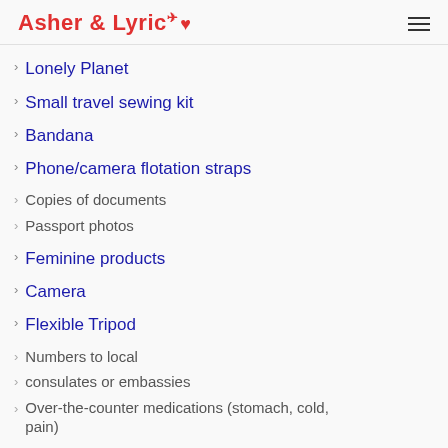Asher & Lyric
Lonely Planet
Small travel sewing kit
Bandana
Phone/camera flotation straps
Copies of documents
Passport photos
Feminine products
Camera
Flexible Tripod
Numbers to local
consulates or embassies
Over-the-counter medications (stomach, cold, pain)